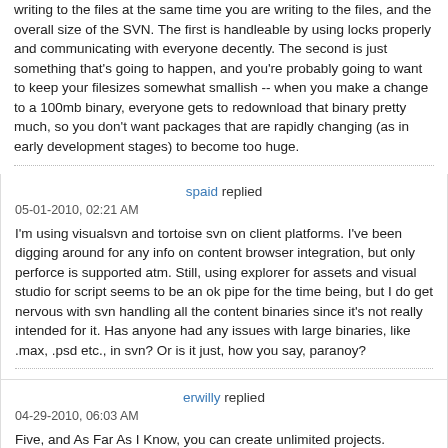writing to the files at the same time you are writing to the files, and the overall size of the SVN. The first is handleable by using locks properly and communicating with everyone decently. The second is just something that's going to happen, and you're probably going to want to keep your filesizes somewhat smallish -- when you make a change to a 100mb binary, everyone gets to redownload that binary pretty much, so you don't want packages that are rapidly changing (as in early development stages) to become too huge.
spaid replied
05-01-2010, 02:21 AM
I'm using visualsvn and tortoise svn on client platforms. I've been digging around for any info on content browser integration, but only perforce is supported atm. Still, using explorer for assets and visual studio for script seems to be an ok pipe for the time being, but I do get nervous with svn handling all the content binaries since it's not really intended for it. Has anyone had any issues with large binaries, like .max, .psd etc., in svn? Or is it just, how you say, paranoy?
erwilly replied
04-29-2010, 06:03 AM
Five, and As Far As I Know, you can create unlimited projects.